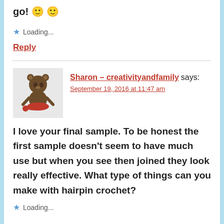go! 🙂 🙂
★ Loading...
Reply
Sharon - creativityandfamily says: September 19, 2016 at 11:47 am
I love your final sample. To be honest the first sample doesn't seem to have much use but when you see then joined they look really effective. What type of things can you make with hairpin crochet?
★ Loading...